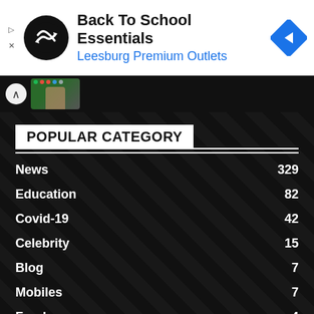[Figure (screenshot): Ad banner with circular black logo with overlapping infinity arrows, text 'Back To School Essentials' and 'Leesburg Premium Outlets' in blue, and a blue navigation diamond icon on the right.]
[Figure (screenshot): Thumbnail strip with chevron up icon and a partial image of a person in green background with colored dots.]
POPULAR CATEGORY
News 329
Education 82
Covid-19 42
Celebrity 15
Blog 7
Mobiles 7
Foods 4